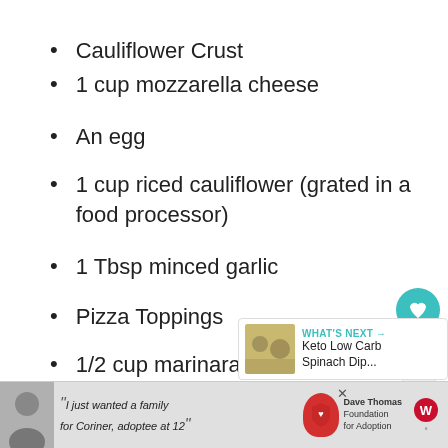Cauliflower Crust
1 cup mozzarella cheese
An egg
1 cup riced cauliflower (grated in a food processor)
1 Tbsp minced garlic
Pizza Toppings
1/2 cup marinara sauce
1 cup fresh spinach
1/4 cup ricotta cheese
[Figure (screenshot): Advertisement banner at the bottom: Dave Thomas Foundation for Adoption ad with a young man photo and quote text]
WHAT'S NEXT → Keto Low Carb Spinach Dip...